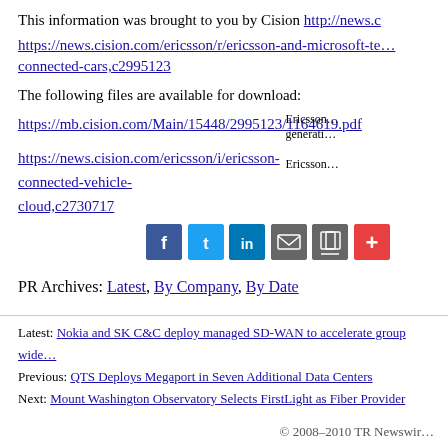This information was brought to you by Cision http://news.c…
https://news.cision.com/ericsson/r/ericsson-and-microsoft-te…connected-cars,c2995123
The following files are available for download:
https://mb.cision.com/Main/15448/2995123/1164619.pdf
https://news.cision.com/ericsson/i/ericsson-connected-vehicle-cloud,c2730717
[Figure (infographic): Social sharing icons: Facebook, Twitter, LinkedIn, Email, Print, Plus]
PR Archives: Latest, By Company, By Date
Latest: Nokia and SK C&C deploy managed SD-WAN to accelerate group wide…
Previous: QTS Deploys Megaport in Seven Additional Data Centers
Next: Mount Washington Observatory Selects FirstLight as Fiber Provider
© 2008–2010 TR Newswir…